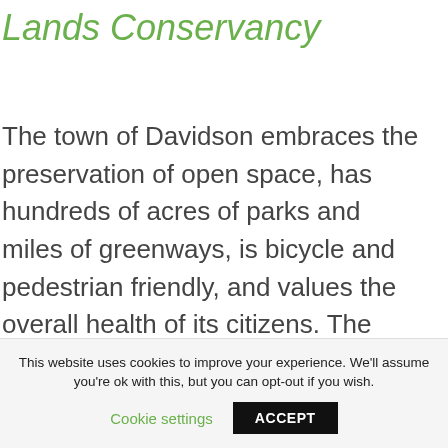Lands Conservancy
The town of Davidson embraces the preservation of open space, has hundreds of acres of parks and miles of greenways, is bicycle and pedestrian friendly, and values the overall health of its citizens. The town's planning ordinance, which received the U.S. Environmental Protection Agency Smart Growth Award in 2004,
This website uses cookies to improve your experience. We'll assume you're ok with this, but you can opt-out if you wish.
Cookie settings  ACCEPT